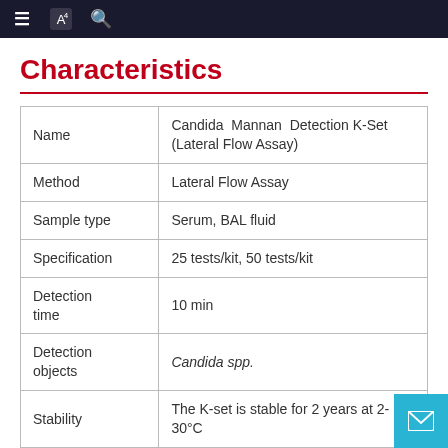≡ [icon] 🔍
Characteristics
|  |  |
| --- | --- |
| Name | Candida Mannan Detection K-Set (Lateral Flow Assay) |
| Method | Lateral Flow Assay |
| Sample type | Serum, BAL fluid |
| Specification | 25 tests/kit, 50 tests/kit |
| Detection time | 10 min |
| Detection objects | Candida spp. |
| Stability | The K-set is stable for 2 years at 2-30°C |
| Low detection | 0.5 ng/ml |